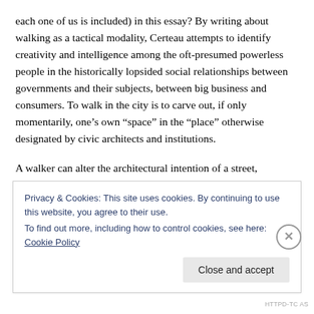each one of us is included) in this essay? By writing about walking as a tactical modality, Certeau attempts to identify creativity and intelligence among the oft-presumed powerless people in the historically lopsided social relationships between governments and their subjects, between big business and consumers. To walk in the city is to carve out, if only momentarily, one's own “space” in the “place” otherwise designated by civic architects and institutions.
A walker can alter the architectural intention of a street,
Privacy & Cookies: This site uses cookies. By continuing to use this website, you agree to their use.
To find out more, including how to control cookies, see here: Cookie Policy